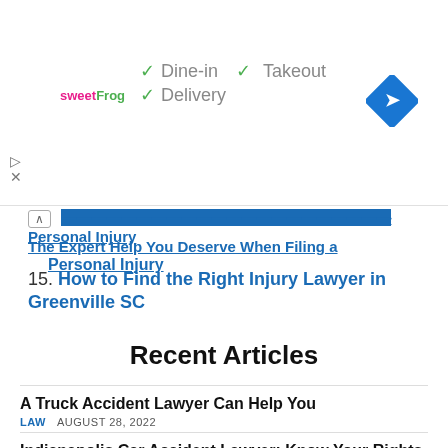[Figure (other): Advertisement banner for sweetFrog showing Dine-in, Takeout, and Delivery checkmarks with a blue navigation icon]
The Expert Help You Deserve When Filing a Personal Injury
15. How to Find the Right Injury Lawyer in Greenville SC
Recent Articles
A Truck Accident Lawyer Can Help You
LAW  AUGUST 28, 2022
Indianapolis Car Accident Lawyer: Know Your Rights